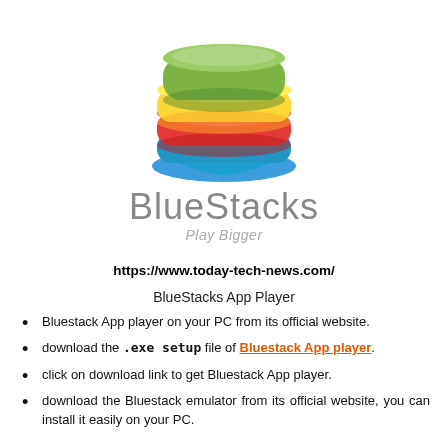[Figure (logo): BlueStacks logo with layered colored shapes (green, yellow, red, blue) forming a stylized stack]
BlueStacks Play Bigger
https://www.today-tech-news.com/
BlueStacks App Player
Bluestack App player on your PC from its official website.
download the .exe setup file of Bluestack App player.
click on download link to get Bluestack App player.
download the Bluestack emulator from its official website, you can install it easily on your PC.